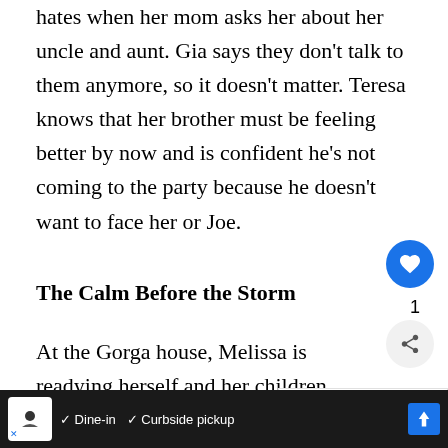hates when her mom asks her about her uncle and aunt. Gia says they don't talk to them anymore, so it doesn't matter. Teresa knows that her brother must be feeling better by now and is confident he's not coming to the party because he doesn't want to face her or Joe.
The Calm Before the Storm
At the Gorga house, Melissa is readying herself and her children to walk into den without the support of her husband. Joe